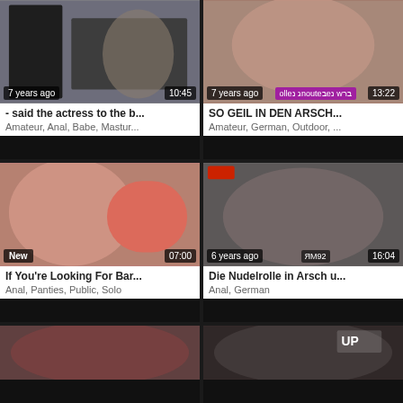[Figure (screenshot): Video thumbnail grid showing adult video website with 6 video thumbnails in 2-column layout]
- said the actress to the b...
Amateur, Anal, Babe, Mastur...
SO GEIL IN DEN ARSCH...
Amateur, German, Outdoor, ...
If You're Looking For Bar...
Anal, Panties, Public, Solo
Die Nudelrolle in Arsch u...
Anal, German